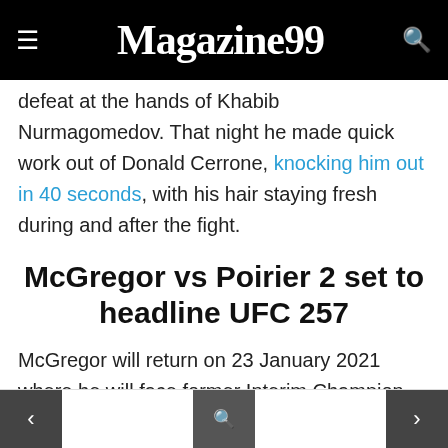Magazine99
defeat at the hands of Khabib Nurmagomedov. That night he made quick work out of Donald Cerrone, knocking him out in 40 seconds, with his hair staying fresh during and after the fight.
McGregor vs Poirier 2 set to headline UFC 257
McGregor will return on 23 January 2021 where he will face former Interim Champion Dustin Poirier for the second time. Earlier the pair faced off in 2014 when Conor was on his historic rise in the